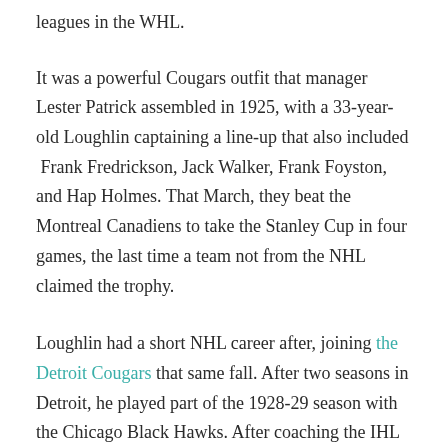leagues in the WHL.
It was a powerful Cougars outfit that manager Lester Patrick assembled in 1925, with a 33-year-old Loughlin captaining a line-up that also included Frank Fredrickson, Jack Walker, Frank Foyston, and Hap Holmes. That March, they beat the Montreal Canadiens to take the Stanley Cup in four games, the last time a team not from the NHL claimed the trophy.
Loughlin had a short NHL career after, joining the Detroit Cougars that same fall. After two seasons in Detroit, he played part of the 1928-29 season with the Chicago Black Hawks. After coaching the IHL London Tecumsehs, Loughlin returned to Chicago in 1935, succeeding Tommy Gorman behind the bench a year after Gorman had steered the Black Hawks to their first